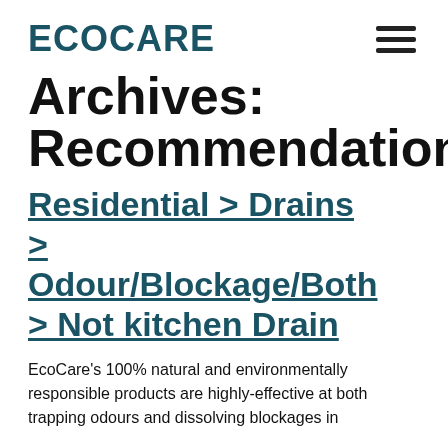ECOCARE
Archives: Recommendation
Residential > Drains > Odour/Blockage/Both > Not kitchen Drain
EcoCare's 100% natural and environmentally responsible products are highly-effective at both trapping odours and dissolving blockages in